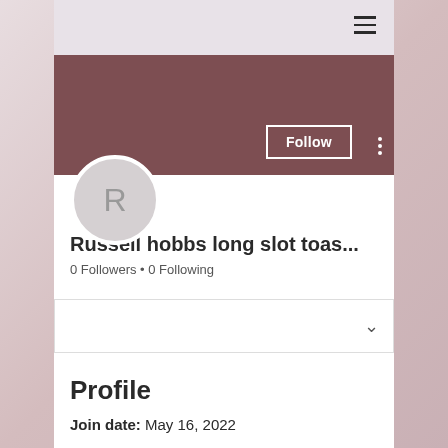[Figure (screenshot): Mobile app user profile page screenshot with mauve/wine-colored cover banner, circular avatar with letter R, Follow button, username 'Russell hobbs long slot toas...', follower info, dropdown box, Profile section with join date May 16 2022, and About section heading]
Russell hobbs long slot toas...
0 Followers • 0 Following
Profile
Join date: May 16, 2022
About